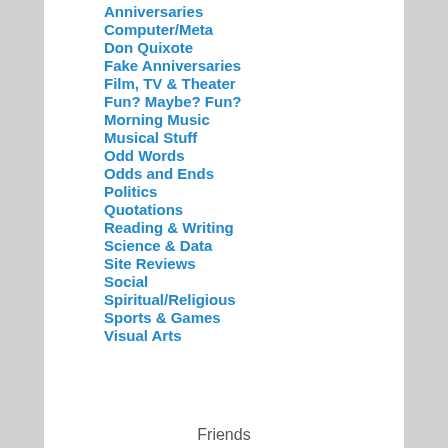Anniversaries
Computer/Meta
Don Quixote
Fake Anniversaries
Film, TV & Theater
Fun? Maybe? Fun?
Morning Music
Musical Stuff
Odd Words
Odds and Ends
Politics
Quotations
Reading & Writing
Science & Data
Site Reviews
Social
Spiritual/Religious
Sports & Games
Visual Arts
Friends